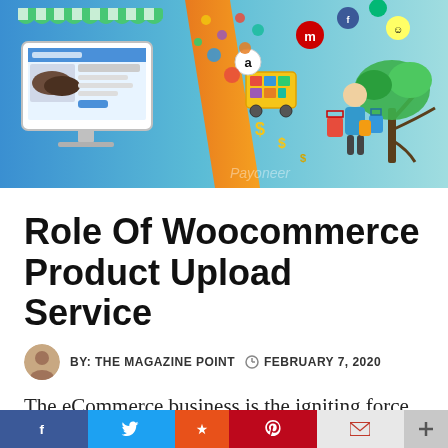[Figure (illustration): E-commerce themed banner with online store, shopping cart with colorful items, social media icons, figure with shopping bags, and tree with brand logos on blue-orange background]
Role Of Woocommerce Product Upload Service
BY: THE MAGAZINE POINT   FEBRUARY 7, 2020
The eCommerce business is the igniting force of today's market. Many online stores are choosing Magento platforms and outsource Magento product upload services whereas